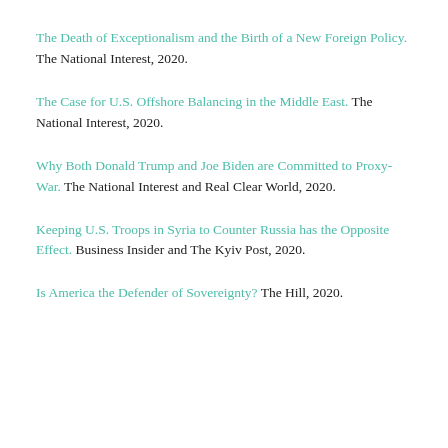The Death of Exceptionalism and the Birth of a New Foreign Policy. The National Interest, 2020.
The Case for U.S. Offshore Balancing in the Middle East. The National Interest, 2020.
Why Both Donald Trump and Joe Biden are Committed to Proxy-War. The National Interest and Real Clear World, 2020.
Keeping U.S. Troops in Syria to Counter Russia has the Opposite Effect. Business Insider and The Kyiv Post, 2020.
Is America the Defender of Sovereignty? The Hill, 2020.